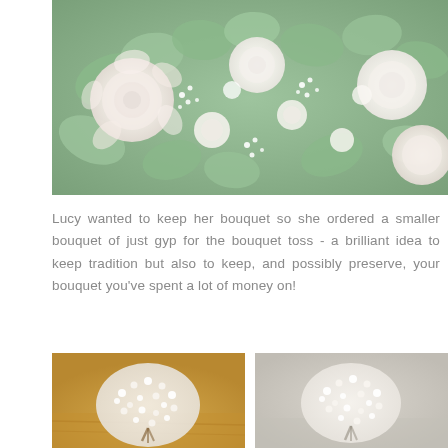[Figure (photo): Close-up photo of a wedding floral arrangement with white roses, ranunculus, gypsophila (baby's breath), and eucalyptus leaves in soft green and white tones]
Lucy wanted to keep her bouquet so she ordered a smaller bouquet of just gyp for the bouquet toss - a brilliant idea to keep tradition but also to keep, and possibly preserve, your bouquet you've spent a lot of money on!
[Figure (photo): Photo of a small round bouquet of gypsophila (baby's breath) on a warm amber/wooden background]
[Figure (photo): Photo of a small round bouquet of gypsophila (baby's breath) on a light grey/white background]